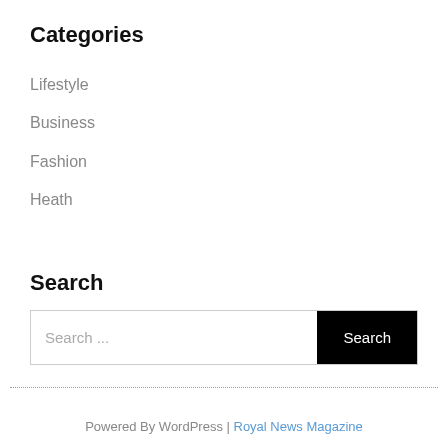Categories
Lifestyle
Business
Fashion
Heath
Search
Search ...
Powered By WordPress | Royal News Magazine